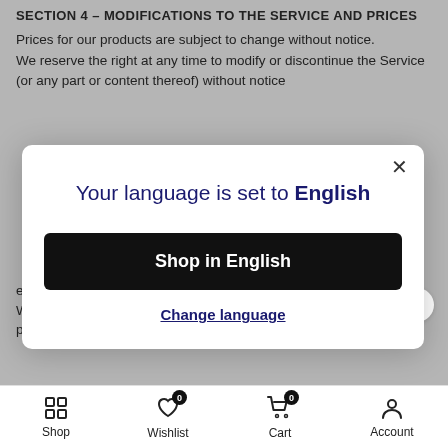SECTION 4 – MODIFICATIONS TO THE SERVICE AND PRICES
Prices for our products are subject to change without notice.
We reserve the right at any time to modify or discontinue the Service (or any part or content thereof) without notice
[Figure (screenshot): Modal dialog overlay with language selection: title 'Your language is set to English', a black button 'Shop in English', and a link 'Change language'. A close (×) button is in the top-right corner.]
exchange only according to our Return Policy.
We have made every effort to display as accurately a
possible the colors and images of our products that appear
Shop    Wishlist 0    Cart 0    Account